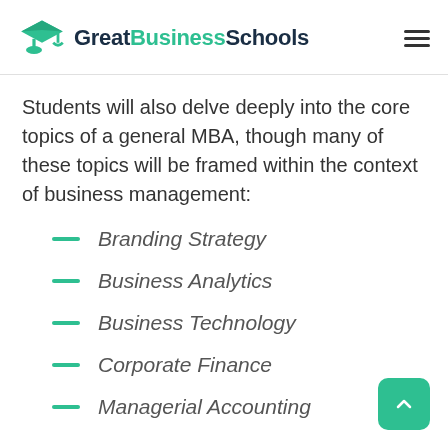GreatBusinessSchools
Students will also delve deeply into the core topics of a general MBA, though many of these topics will be framed within the context of business management:
Branding Strategy
Business Analytics
Business Technology
Corporate Finance
Managerial Accounting